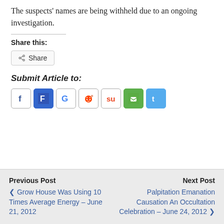The suspects' names are being withheld due to an ongoing investigation.
Share this:
[Figure (infographic): Share button with share icon]
Submit Article to:
[Figure (infographic): Social media icon buttons: Facebook, Fark, Google, Reddit, StumbleUpon, green icon, Twitter]
Previous Post
❮ Grow House Was Using 10 Times Average Energy – June 21, 2012
Next Post
Palpitation Emanation Causation An Occultation Celebration – June 24, 2012 ❯